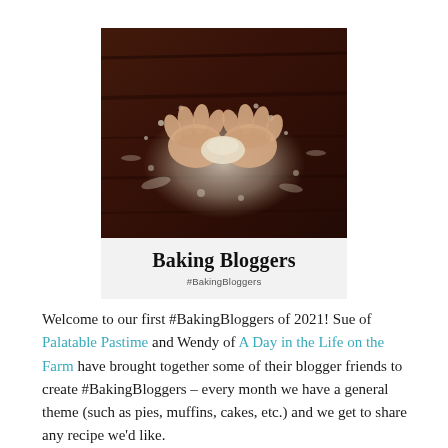[Figure (photo): Photo of hands kneading dough with flour scattered on a dark wooden surface, above a light grey panel with bold text 'Baking Bloggers' and '#BakingBloggers' in smaller text beneath]
Welcome to our first #BakingBloggers of 2021! Sue of Palatable Pastime and Wendy of A Day in the Life on the Farm have brought together some of their blogger friends to create #BakingBloggers – every month we have a general theme (such as pies, muffins, cakes, etc.) and we get to share any recipe we'd like.